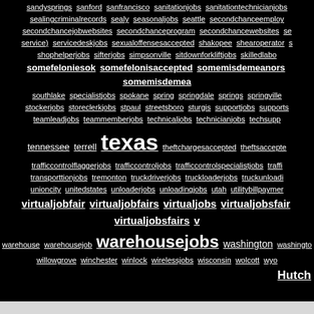sandysprings sanford sanfrancisco sanitationjobs sanitationtechnicianjobs sealingcriminalrecords sealy seasonaljobs seattle secondchanceemploy secondchancejobwebsites secondchanceprogram secondchancewebsites se service) servicedeskjobs sexualoffensesaccepted shakopee shearoperator s shophelperjobs sifterjobs simpsonville sitdownforkliftjobs skilledlabo somefeloniesok somefelonisaccepted somemisdemeanors somemisdemea southlake specialistjobs spokane spring springdale springs springville stockerjobs storeclerkjobs stpaul streetsboro sturgis supportjobs supports teamleadjobs teammemberjobs technicaljobs technicianjobs techsupp tennessee terrell texas theftchargesaccepted theftsaccepte trafficcontrolflaggerjobs trafficcontroljobs trafficcontrolspecialistjobs traffi transporttionjobs tremonton truckdriverjobs truckloaderjobs truckunloadi unioncity unitedstates unloaderjobs unloadingjobs utah utilitybillpaymer virtualjobfair virtualjobfairs virtualjobs virtualjobsfair virtualjobsfairs v warehouse warehousejob warehousejobs washington washingto willowgrove winchester winlock wirelessjobs wisconsin wolcott wyo Hutch
[Figure (screenshot): Infolinks advertisement bar with logo and Belk.com ad]
Belk.com - Belk® - Official Site
Shop for clothing, handbags, jewelry, beauty, home & more!
www.belk.com